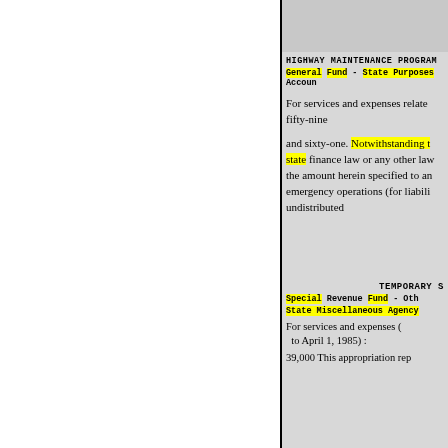HIGHWAY MAINTENANCE PROGRAM
General Fund - State Purposes Account
For services and expenses related fifty-nine
and sixty-one. Notwithstanding t state finance law or any other law the amount herein specified to an emergency operations (for liabili undistributed
TEMPORARY S
Special Revenue Fund - Oth
State Miscellaneous Agency
For services and expenses (to April 1, 1985) :
39,000 This appropriation rep